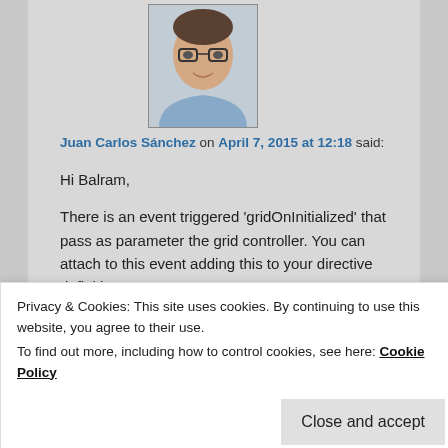[Figure (photo): Headshot of a man with glasses wearing a light blue shirt, circular/rectangular avatar photo]
Juan Carlos Sánchez on April 7, 2015 at 12:18 said:
Hi Balram,

There is an event triggered 'gridOnInitialized' that pass as parameter the grid controller. You can attach to this event adding this to your directive definition:
' initialized='itemsCtrl.gridOnInitialized'

One you have the grid controller you can try to trigger again a 'initialization'. I am not sure 100%
Privacy & Cookies: This site uses cookies. By continuing to use this website, you agree to their use.
To find out more, including how to control cookies, see here: Cookie Policy
Close and accept
if you implement it please send me a pull request